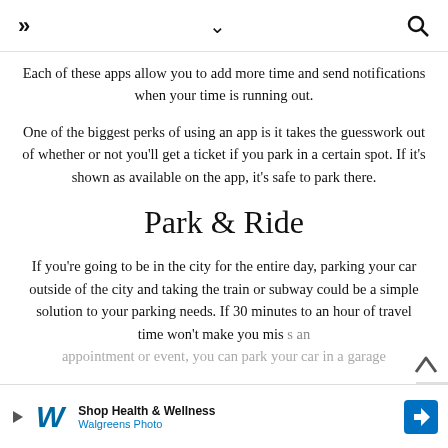» ∨ 🔍
Each of these apps allow you to add more time and send notifications when your time is running out.
One of the biggest perks of using an app is it takes the guesswork out of whether or not you'll get a ticket if you park in a certain spot. If it's shown as available on the app, it's safe to park there.
Park & Ride
If you're going to be in the city for the entire day, parking your car outside of the city and taking the train or subway could be a simple solution to your parking needs. If 30 minutes to an hour of travel time won't make you miss an appointment or event, you can park your car in a garage
[Figure (screenshot): Advertisement banner for Walgreens Photo - Shop Health & Wellness]